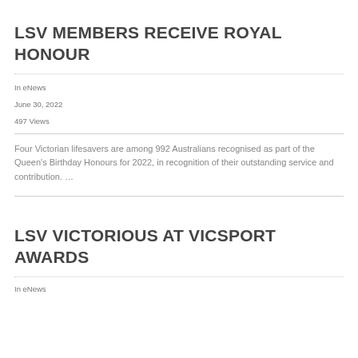LSV MEMBERS RECEIVE ROYAL HONOUR
In eNews
June 30, 2022
497 Views
Four Victorian lifesavers are among 992 Australians recognised as part of the Queen's Birthday Honours for 2022, in recognition of their outstanding service and contribution. …
LSV VICTORIOUS AT VICSPORT AWARDS
In eNews